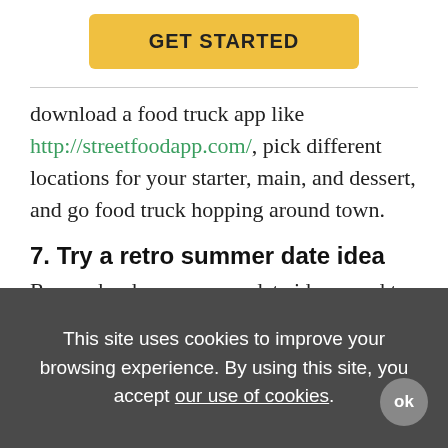[Figure (other): GET STARTED yellow button]
download a food truck app like http://streetfoodapp.com/, pick different locations for your starter, main, and dessert, and go food truck hopping around town.
7. Try a retro summer date idea
Remember how summer date ideas used to be? In the break from high school or college, when you didn't have the money (or the ID!) to spend your
This site uses cookies to improve your browsing experience. By using this site, you accept our use of cookies.